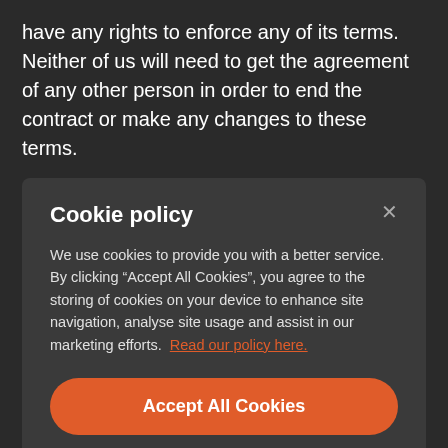have any rights to enforce any of its terms. Neither of us will need to get the agreement of any other person in order to end the contract or make any changes to these terms.
14.3 Each of the paragraphs of these terms operates separately. If any court or relevant authority decides that any of them are unlawful, the remaining paragraphs will remain in full
Cookie policy
We use cookies to provide you with a better service. By clicking “Accept All Cookies”, you agree to the storing of cookies on your device to enhance site navigation, analyse site usage and assist in our marketing efforts. Read our policy here.
Accept All Cookies
Cookies Settings